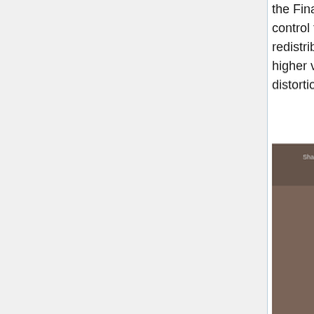the Final Multiplier value to control the intensity of the redistribution. In this case, higher values will create more distortion.
[Figure (screenshot): A shader node graph editor showing nodes: 'Shaders', 'Base colours' (red node), 'Get position in texture 01', 'Y to scalar 01', 'Constant', 'Multiply scalar 02', 'Sin scalar 02', connected with lines and arrows in a dark brownish editor background.]